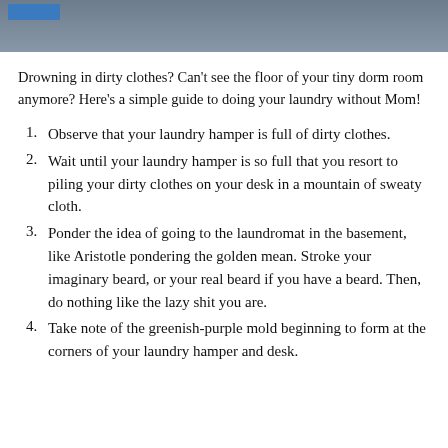[Figure (photo): Grayscale photo strip at top of page showing people, with a blue rectangular tab overlay in the upper left corner]
Drowning in dirty clothes? Can't see the floor of your tiny dorm room anymore? Here's a simple guide to doing your laundry without Mom!
Observe that your laundry hamper is full of dirty clothes.
Wait until your laundry hamper is so full that you resort to piling your dirty clothes on your desk in a mountain of sweaty cloth.
Ponder the idea of going to the laundromat in the basement, like Aristotle pondering the golden mean. Stroke your imaginary beard, or your real beard if you have a beard. Then, do nothing like the lazy shit you are.
Take note of the greenish-purple mold beginning to form at the corners of your laundry hamper and desk.